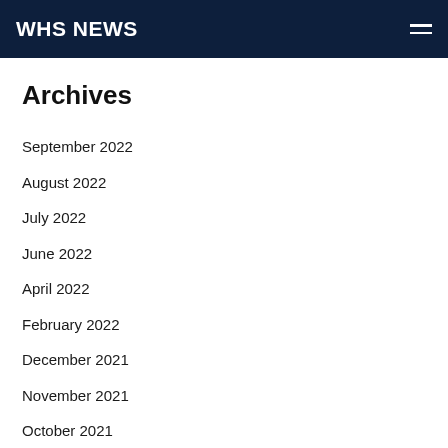WHS NEWS
Archives
September 2022
August 2022
July 2022
June 2022
April 2022
February 2022
December 2021
November 2021
October 2021
September 2021